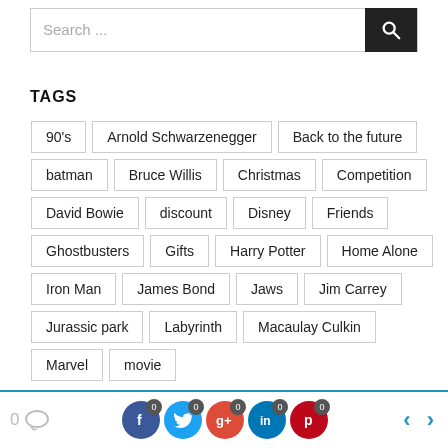Search ...
TAGS
90's
Arnold Schwarzenegger
Back to the future
batman
Bruce Willis
Christmas
Competition
David Bowie
discount
Disney
Friends
Ghostbusters
Gifts
Harry Potter
Home Alone
Iron Man
James Bond
Jaws
Jim Carrey
Jurassic park
Labyrinth
Macaulay Culkin
Marvel
movie